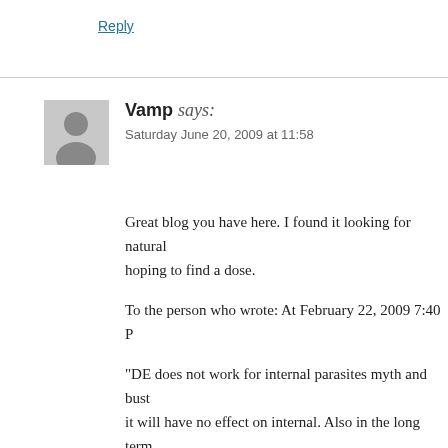Reply
Vamp says:
Saturday June 20, 2009 at 11:58
Great blog you have here. I found it looking for natural hoping to find a dose.
To the person who wrote: At February 22, 2009 7:40 P
"DE does not work for internal parasites myth and bust it will have no effect on internal. Also in the long term powdered glass to your animals. A lady in my poultry g hens started dying off from internal cuts from DE. It ju system over time. "
You are wrong. I fed my chickens fossil shell flour AK safely. If that woman killed her chickens it could have